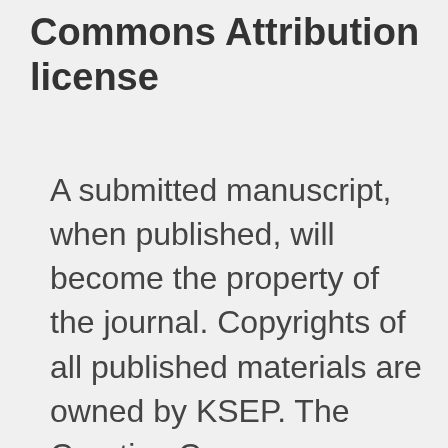Commons Attribution license
A submitted manuscript, when published, will become the property of the journal. Copyrights of all published materials are owned by KSEP. The Creative Commons Attribution License...